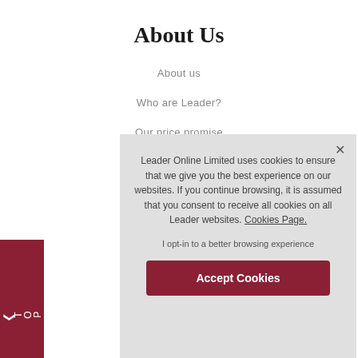About Us
About us
Who are Leader?
Our price promise
Leader Online Limited uses cookies to ensure that we give you the best experience on our websites. If you continue browsing, it is assumed that you consent to receive all cookies on all Leader websites. Cookies Page.

I opt-in to a better browsing experience
Accept Cookies
Delivery policy